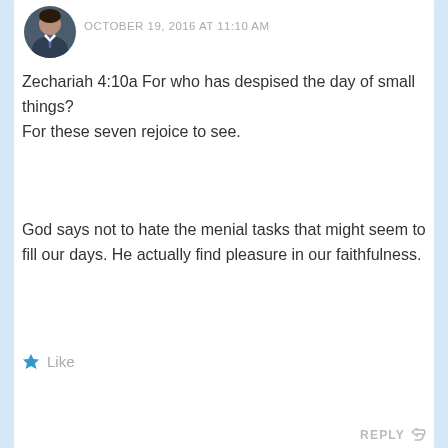[Figure (photo): Circular avatar photo of a man in a suit with a tie, dark background]
OCTOBER 19, 2016 AT 11:10 AM
Zechariah 4:10a For who has despised the day of small things?
For these seven rejoice to see.
God says not to hate the menial tasks that might seem to fill our days. He actually find pleasure in our faithfulness.
Like
REPLY
[Figure (photo): Circular avatar photo of a young woman smiling]
Caroline @ In Due Time says:
OCTOBER 20, 2016 AT 12:06 PM